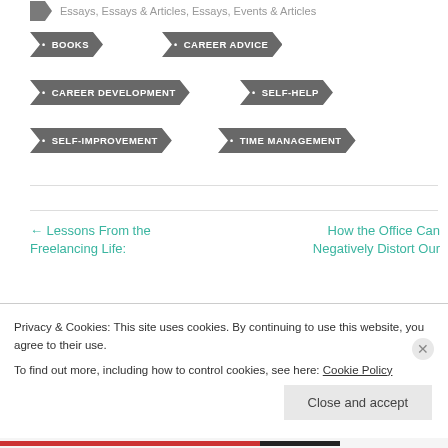Essays, Essays & Articles, Essays, Events & Articles
• BOOKS
• CAREER ADVICE
• CAREER DEVELOPMENT
• SELF-HELP
• SELF-IMPROVEMENT
• TIME MANAGEMENT
← Lessons From the Freelancing Life:
How the Office Can Negatively Distort Our
Privacy & Cookies: This site uses cookies. By continuing to use this website, you agree to their use.
To find out more, including how to control cookies, see here: Cookie Policy
Close and accept